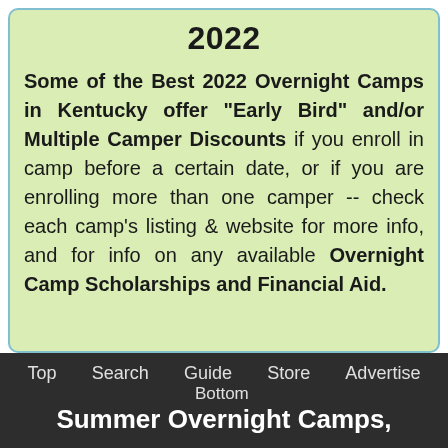2022
Some of the Best 2022 Overnight Camps in Kentucky offer "Early Bird" and/or Multiple Camper Discounts if you enroll in camp before a certain date, or if you are enrolling more than one camper -- check each camp's listing & website for more info, and for info on any available Overnight Camp Scholarships and Financial Aid.
Top  Search  Guide  Store  Advertise  Bottom  Summer Overnight Camps,